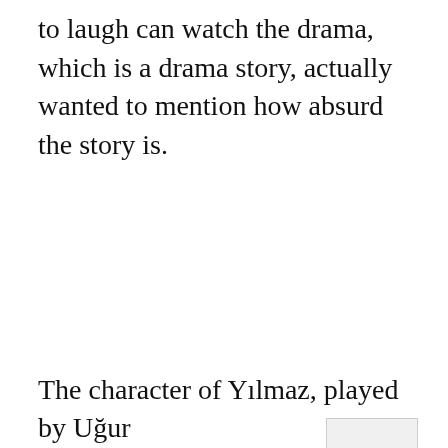to laugh can watch the drama, which is a drama story, actually wanted to mention how absurd the story is.
[Figure (other): A scroll-to-top button widget with an upward-pointing chevron/caret arrow on a light gray background with a border.]
The character of Yılmaz, played by Uğur